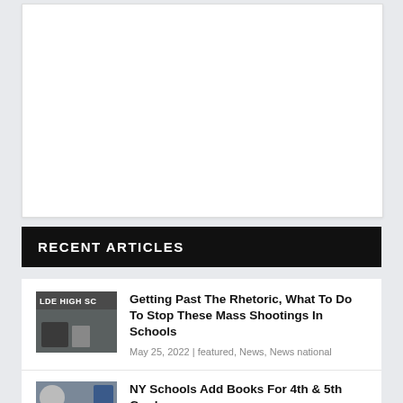[Figure (other): White blank rectangular area, likely an advertisement or image placeholder]
RECENT ARTICLES
[Figure (photo): Thumbnail photo showing exterior of what appears to be Uvalde High School with people and vehicles outside]
Getting Past The Rhetoric, What To Do To Stop These Mass Shootings In Schools
May 25, 2022 | featured, News, News national
[Figure (photo): Thumbnail photo for NY Schools article]
NY Schools Add Books For 4th & 5th Graders